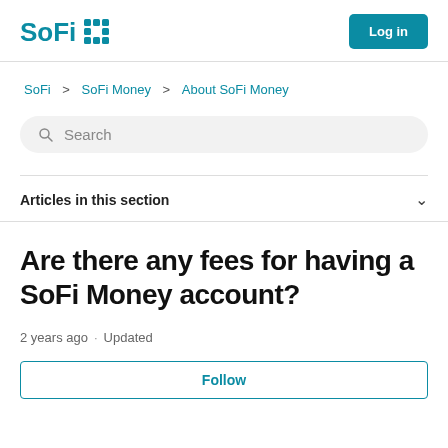SoFi  Log in
SoFi > SoFi Money > About SoFi Money
Search
Articles in this section
Are there any fees for having a SoFi Money account?
2 years ago  ·  Updated
Follow